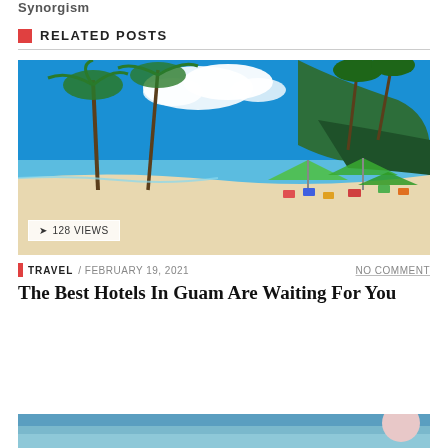Synorgism
RELATED POSTS
[Figure (photo): Tropical beach with white sand, palm trees, clear blue water, beach chairs and umbrellas. Overlay badge shows '128 VIEWS'.]
TRAVEL / FEBRUARY 19, 2021   NO COMMENT
The Best Hotels In Guam Are Waiting For You
[Figure (photo): Partial view of a second beach/travel photo at the bottom of the page.]